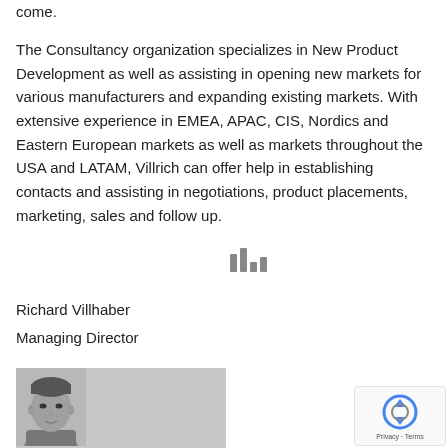come.
The Consultancy organization specializes in New Product Development as well as assisting in opening new markets for various manufacturers and expanding existing markets. With extensive experience in EMEA, APAC, CIS, Nordics and Eastern European markets as well as markets throughout the USA and LATAM, Villrich can offer help in establishing contacts and assisting in negotiations, product placements, marketing, sales and follow up.
Richard Villhaber
Managing Director
[Figure (photo): Black and white headshot photo of a man]
[Figure (other): reCAPTCHA widget with Privacy and Terms links]